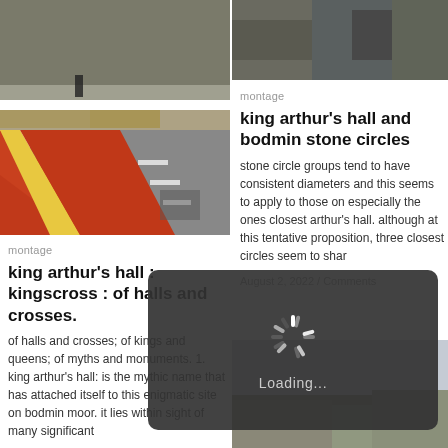[Figure (photo): Red cycle lane on a road with yellow painted curbs, moody sky and grassy banks, person visible in background]
[Figure (photo): Close-up of dark rocky surface, partial view top right]
montage
king arthur's hall and bodmin stone circles
stone circle groups tend to have consistent diameters and this seems to apply to those on especially the ones closest arthur's hall. although at this tentative proposition, three closest circles seem to shar
August 2, 2022 / Comments
montage
king arthur's hall : kingscross : of halls and crosses.
of halls and crosses; of kings and queens; of myths and monuments. 1. king arthur's hall: is the mythic name that has attached itself to this enigmatic site on bodmin moor. it lies within sight of many significant
[Figure (infographic): Dark overlay loading spinner with 'Loading...' text]
[Figure (photo): Moorland landscape with cloudy sky, Bodmin Moor area]